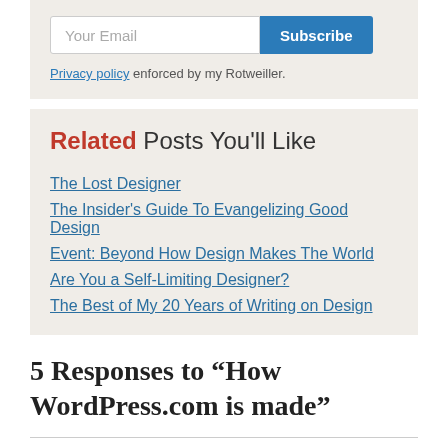Your Email  Subscribe
Privacy policy enforced by my Rotweiller.
Related Posts You'll Like
The Lost Designer
The Insider's Guide To Evangelizing Good Design
Event: Beyond How Design Makes The World
Are You a Self-Limiting Designer?
The Best of My 20 Years of Writing on Design
5 Responses to “How WordPress.com is made”